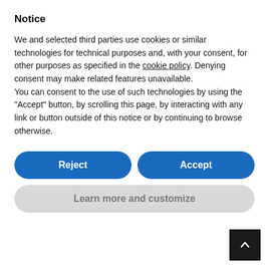Notice
We and selected third parties use cookies or similar technologies for technical purposes and, with your consent, for other purposes as specified in the cookie policy. Denying consent may make related features unavailable.
You can consent to the use of such technologies by using the "Accept" button, by scrolling this page, by interacting with any link or button outside of this notice or by continuing to browse otherwise.
and the betterment of the lives of those around them, professional orientation is the drive which motivates employees to act as